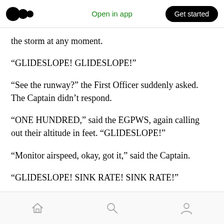Medium app navigation bar with logo, 'Open in app', and 'Get started' button
the storm at any moment.
“GLIDESLOPE! GLIDESLOPE!”
“See the runway?” the First Officer suddenly asked. The Captain didn’t respond.
“ONE HUNDRED,” said the EGPWS, again calling out their altitude in feet. “GLIDESLOPE!”
“Monitor airspeed, okay, got it,” said the Captain.
“GLIDESLOPE! SINK RATE! SINK RATE!”
Bottom navigation bar with home, search, and profile icons